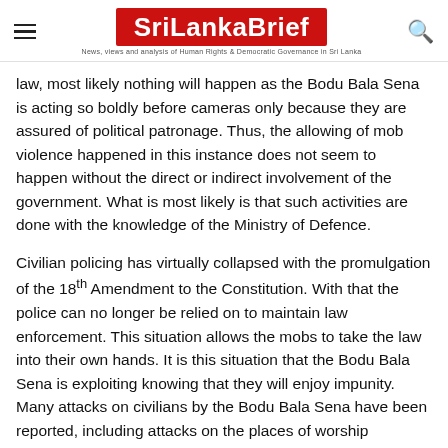SriLankaBrief — News, views and analysis of Human Rights & Democratic Governance in Sri Lanka
law, most likely nothing will happen as the Bodu Bala Sena is acting so boldly before cameras only because they are assured of political patronage. Thus, the allowing of mob violence happened in this instance does not seem to happen without the direct or indirect involvement of the government. What is most likely is that such activities are done with the knowledge of the Ministry of Defence.
Civilian policing has virtually collapsed with the promulgation of the 18th Amendment to the Constitution. With that the police can no longer be relied on to maintain law enforcement. This situation allows the mobs to take the law into their own hands. It is this situation that the Bodu Bala Sena is exploiting knowing that they will enjoy impunity. Many attacks on civilians by the Bodu Bala Sena have been reported, including attacks on the places of worship belonging to other religions.